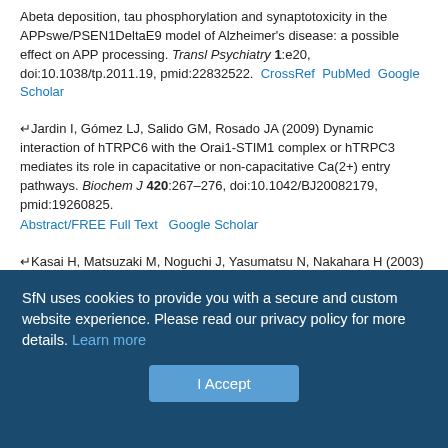Abeta deposition, tau phosphorylation and synaptotoxicity in the APPswe/PSEN1DeltaE9 model of Alzheimer's disease: a possible effect on APP processing. Transl Psychiatry 1:e20, doi:10.1038/tp.2011.19, pmid:22832522. CrossRef PubMed Google Scholar
↵ Jardin I, Gómez LJ, Salido GM, Rosado JA (2009) Dynamic interaction of hTRPC6 with the Orai1-STIM1 complex or hTRPC3 mediates its role in capacitative or non-capacitative Ca(2+) entry pathways. Biochem J 420:267–276, doi:10.1042/BJ20082179, pmid:19260825. Abstract/FREE Full Text Google Scholar
↵ Kasai H, Matsuzaki M, Noguchi J, Yasumatsu N, Nakahara H (2003) Structure-stability-function relationships of dendritic spines. Trends Neurosci 26:360–368, doi:10.1016/S0166-2236(03)00162-0, pmid:12850432. CrossRef PubMed Google Scholar
↵ Kasper S, Gastpar M, Möller HJ, Müller WE, Volz HP, Dienel A, Kieser M
SfN uses cookies to provide you with a secure and custom website experience. Please read our privacy policy for more details. Learn more
I Accept